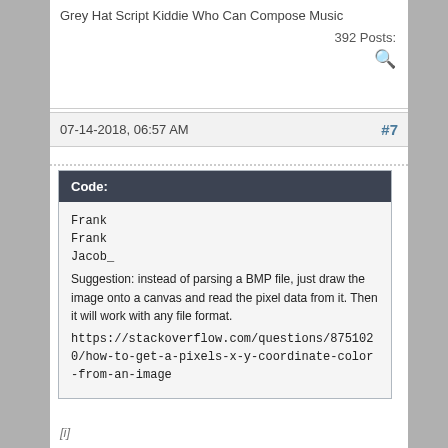Grey Hat Script Kiddie Who Can Compose Music
392 Posts:
07-14-2018, 06:57 AM    #7
Code:
Frank
Frank
Jacob_
Suggestion: instead of parsing a BMP file, just draw the image onto a canvas and read the pixel data from it. Then it will work with any file format.
https://stackoverflow.com/questions/8751020/how-to-get-a-pixels-x-y-coordinate-color-from-an-image
[i]